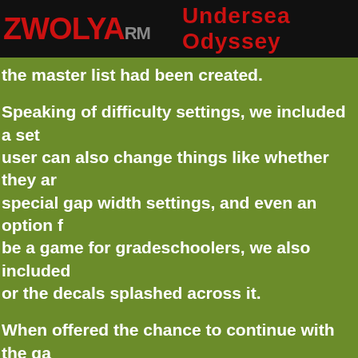ZWOLYA RM   Undersea Odyssey
the master list had been created.
Speaking of difficulty settings, we included a set user can also change things like whether they ar special gap width settings, and even an option f be a game for gradeschoolers, we also included or the decals splashed across it.
When offered the chance to continue with the ga immediately targeted to fix.  First, the cut tool w we instead allow the player to drag a piece onto subdivided evenly into pieces of that second len added an AnimatedPiece to my list, which flies gets there, updating the Inventory count or ta change for the final game was a result of my pu was not able to make interchangeable sections t other options and found a spline generation to